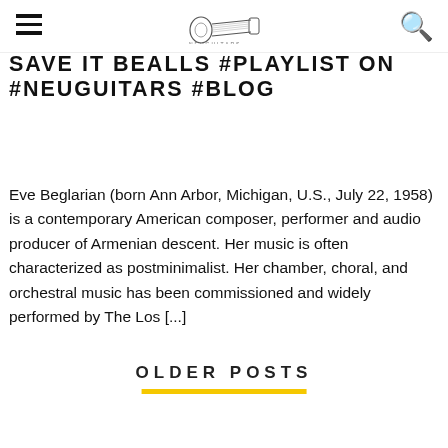[Hamburger menu icon] [Guitar logo] [Search icon]
SAVE IT BEALLS #PLAYLIST ON #NEUGUITARS #BLOG
Eve Beglarian (born Ann Arbor, Michigan, U.S., July 22, 1958) is a contemporary American composer, performer and audio producer of Armenian descent. Her music is often characterized as postminimalist. Her chamber, choral, and orchestral music has been commissioned and widely performed by The Los [...]
OLDER POSTS